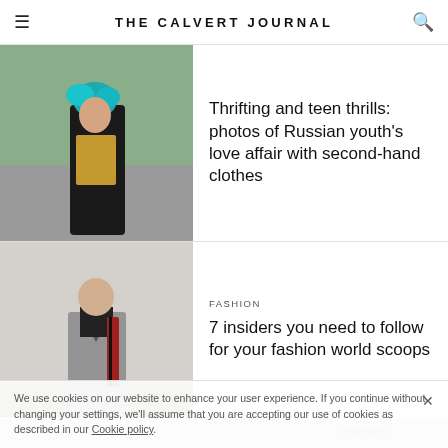THE CALVERT JOURNAL
[Figure (photo): Young person wearing a black jacket over leopard print top with teal flower hair accessory, standing on a road with greenery in background]
Thrifting and teen thrills: photos of Russian youth's love affair with second-hand clothes
[Figure (photo): Young person with shaved head wearing an oversized grey double-breasted suit with black turtleneck and red plaid bag strap, standing against a white wall outdoors]
FASHION
7 insiders you need to follow for your fashion world scoops
We use cookies on our website to enhance your user experience. If you continue without changing your settings, we'll assume that you are accepting our use of cookies as described in our Cookie policy.